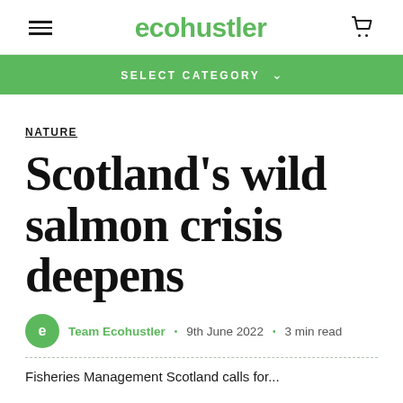ecohustler
SELECT CATEGORY
NATURE
Scotland's wild salmon crisis deepens
Team Ecohustler • 9th June 2022 • 3 min read
Fisheries Management Scotland calls for...